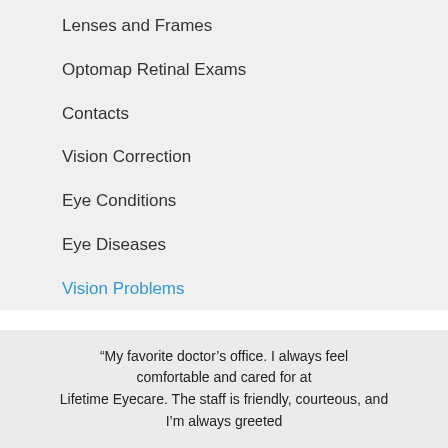Lenses and Frames
Optomap Retinal Exams
Contacts
Vision Correction
Eye Conditions
Eye Diseases
Vision Problems
“My favorite doctor’s office. I always feel comfortable and cared for at Lifetime Eyecare. The staff is friendly, courteous, and I’m always greeted